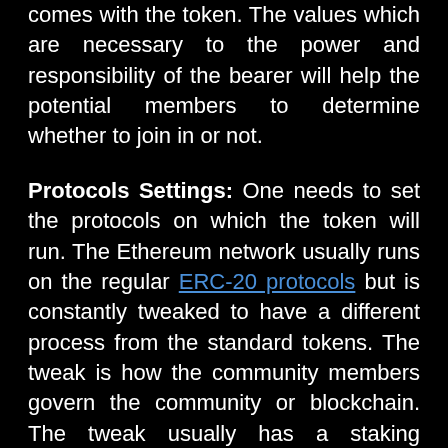comes with the token. The values which are necessary to the power and responsibility of the bearer will help the potential members to determine whether to join in or not.
Protocols Settings: One needs to set the protocols on which the token will run. The Ethereum network usually runs on the regular ERC-20 protocols but is constantly tweaked to have a different process from the standard tokens. The tweak is how the community members govern the community or blockchain. The tweak usually has a staking contract in which members deposit their tokens to vote.
Multi...